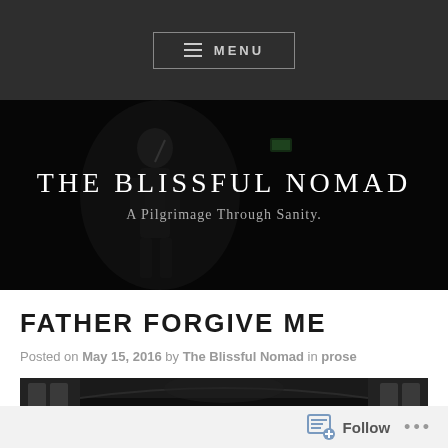≡ MENU
THE BLISSFUL NOMAD
A Pilgrimage Through Sanity.
FATHER FORGIVE ME
Posted on May 15, 2016 by The Blissful Nomad in prose
[Figure (photo): Dark interior of a cathedral or church, black and white photograph]
Follow ...